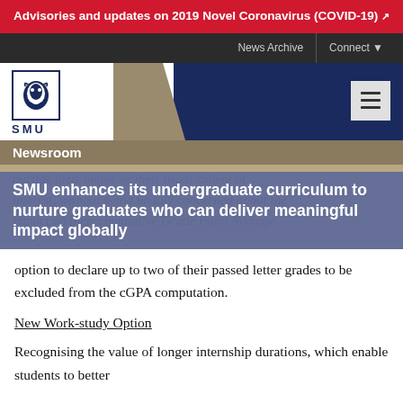Advisories and updates on 2019 Novel Coronavirus (COVID-19) ↗
News Archive | Connect
[Figure (logo): SMU (Singapore Management University) logo with lion head icon and text SMU]
Newsroom
SMU enhances its undergraduate curriculum to nurture graduates who can deliver meaningful impact globally
outside their major or their usual sphere of interest, without being unduly concerned about the impact on their cumulative Grade Point Average (GPA). students have the option to declare up to two of their passed letter grades to be excluded from the cGPA computation.
New Work-study Option
Recognising the value of longer internship durations, which enable students to better